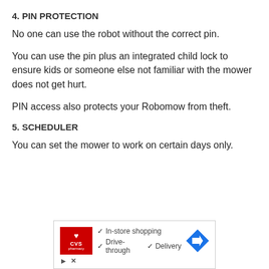4. PIN PROTECTION
No one can use the robot without the correct pin.
You can use the pin plus an integrated child lock to ensure kids or someone else not familiar with the mower does not get hurt.
PIN access also protects your Robomow from theft.
5. SCHEDULER
You can set the mower to work on certain days only.
[Figure (screenshot): CVS Pharmacy advertisement showing In-store shopping, Drive-through, and Delivery options with checkmarks and a navigation arrow icon.]